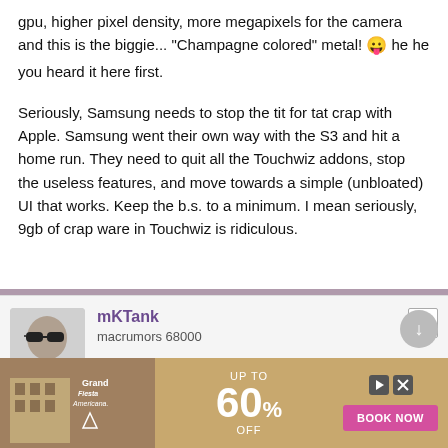gpu, higher pixel density, more megapixels for the camera and this is the biggie... "Champagne colored" metal! 😛 he he you heard it here first.
Seriously, Samsung needs to stop the tit for tat crap with Apple. Samsung went their own way with the S3 and hit a home run. They need to quit all the Touchwiz addons, stop the useless features, and move towards a simple (unbloated) UI that works. Keep the b.s. to a minimum. I mean seriously, 9gb of crap ware in Touchwiz is ridiculous.
[Figure (other): User avatar for mKTank showing a person with sunglasses]
mKTank
macrumors 68000
[Figure (other): Advertisement banner for Grand Fiesta Americana hotel offering up to 60% OFF with BOOK NOW button]